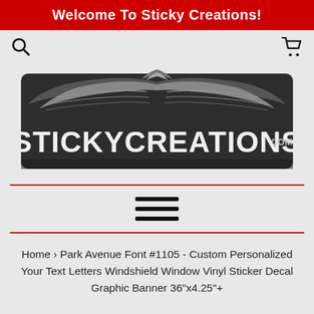Welcome To Sticky Creations!
[Figure (logo): Sticky Creations logo — dark banner with ornate wing design and STICKYCREATIONS.COM text in white]
Home > Park Avenue Font #1105 - Custom Personalized Your Text Letters Windshield Window Vinyl Sticker Decal Graphic Banner 36"x4.25"+